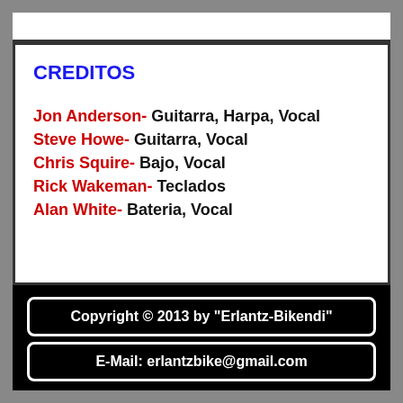CREDITOS
Jon Anderson- Guitarra, Harpa, Vocal
Steve Howe- Guitarra, Vocal
Chris Squire- Bajo, Vocal
Rick Wakeman- Teclados
Alan White- Bateria, Vocal
Copyright © 2013 by "Erlantz-Bikendi"
E-Mail: erlantzbike@gmail.com